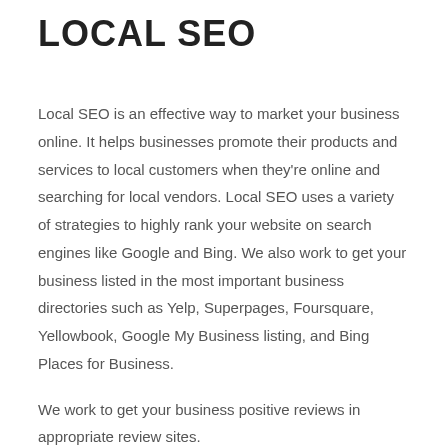LOCAL SEO
Local SEO is an effective way to market your business online. It helps businesses promote their products and services to local customers when they’re online and searching for local vendors. Local SEO uses a variety of strategies to highly rank your website on search engines like Google and Bing. We also work to get your business listed in the most important business directories such as Yelp, Superpages, Foursquare, Yellowbook, Google My Business listing, and Bing Places for Business.
We work to get your business positive reviews in appropriate review sites.